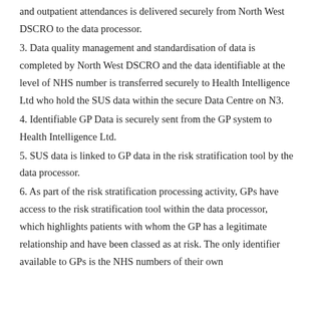and outpatient attendances is delivered securely from North West DSCRO to the data processor.
3. Data quality management and standardisation of data is completed by North West DSCRO and the data identifiable at the level of NHS number is transferred securely to Health Intelligence Ltd who hold the SUS data within the secure Data Centre on N3.
4. Identifiable GP Data is securely sent from the GP system to Health Intelligence Ltd.
5. SUS data is linked to GP data in the risk stratification tool by the data processor.
6. As part of the risk stratification processing activity, GPs have access to the risk stratification tool within the data processor, which highlights patients with whom the GP has a legitimate relationship and have been classed as at risk. The only identifier available to GPs is the NHS numbers of their own